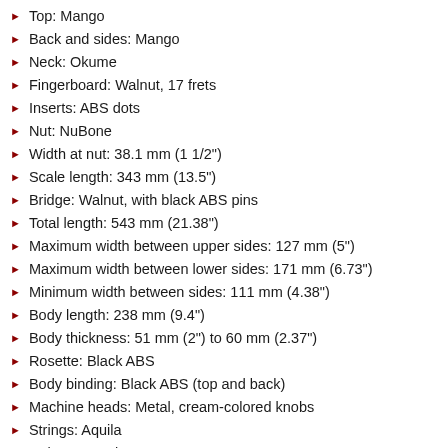Top: Mango
Back and sides: Mango
Neck: Okume
Fingerboard: Walnut, 17 frets
Inserts: ABS dots
Nut: NuBone
Width at nut: 38.1 mm (1 1/2")
Scale length: 343 mm (13.5")
Bridge: Walnut, with black ABS pins
Total length: 543 mm (21.38")
Maximum width between upper sides: 127 mm (5")
Maximum width between lower sides: 171 mm (6.73")
Minimum width between sides: 111 mm (4.38")
Body length: 238 mm (9.4")
Body thickness: 51 mm (2") to 60 mm (2.37")
Rosette: Black ABS
Body binding: Black ABS (top and back)
Machine heads: Metal, cream-colored knobs
Strings: Aquila
Color: Natural
Finish: Satin